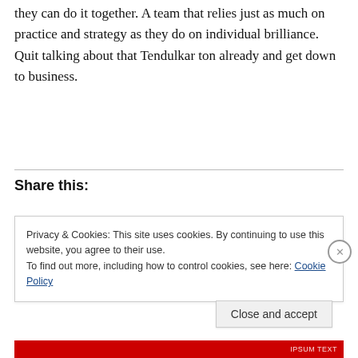they can do it together. A team that relies just as much on practice and strategy as they do on individual brilliance. Quit talking about that Tendulkar ton already and get down to business.
Share this:
Privacy & Cookies: This site uses cookies. By continuing to use this website, you agree to their use. To find out more, including how to control cookies, see here: Cookie Policy
Close and accept